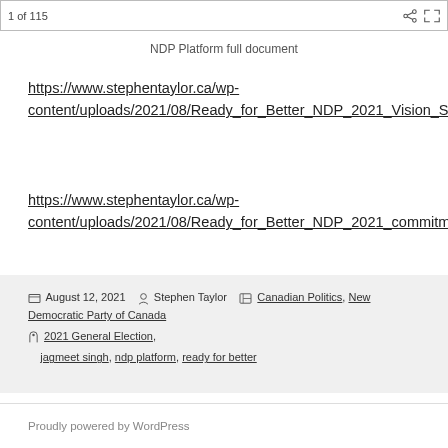1 of 115
NDP Platform full document
https://www.stephentaylor.ca/wp-content/uploads/2021/08/Ready_for_Better_NDP_2021_Vision_Summary.pdf
https://www.stephentaylor.ca/wp-content/uploads/2021/08/Ready_for_Better_NDP_2021_commitments_LowRes.pdf
Posted August 12, 2021  Author Stephen Taylor  Categories Canadian Politics, New Democratic Party of Canada  Tags 2021 General Election, jagmeet singh, ndp platform, ready for better
Proudly powered by WordPress